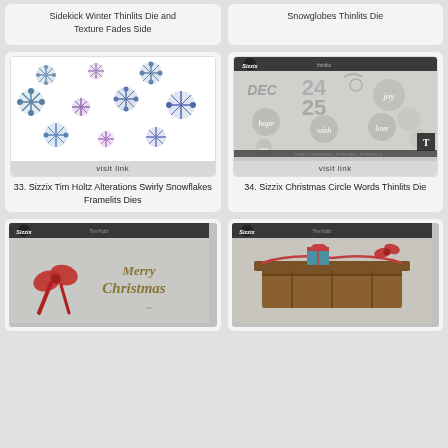Sidekick Winter Thinlits Die and Texture Fades Side
Snowglobes Thinlits Die
[Figure (photo): Sizzix Tim Holtz Alterations Swirly Snowflakes Framelits Dies product image showing multiple die-cut snowflakes in blue and purple]
visit link
33. Sizzix Tim Holtz Alterations Swirly Snowflakes Framelits Dies
[Figure (photo): Sizzix Christmas Circle Words Thinlits Die product image showing circular die cuts with words: DEC, 24, 25, hope, joy, wish, snow, love]
visit link
34. Sizzix Christmas Circle Words Thinlits Die
[Figure (photo): Sizzix Merry Christmas die product image with red bow and Merry Christmas text]
[Figure (photo): Sizzix mailbox/mantle die product image with decorative elements]